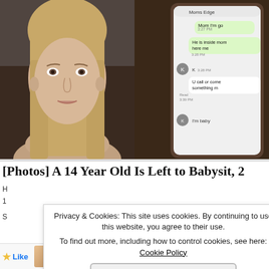[Figure (photo): Split image: left side shows a teenage girl with long blonde hair looking to the side; right side shows a smartphone screen with a text conversation in a messaging app. The chat header reads 'Moms Edge'. Messages visible include 'Mom I'm go', 'He is inside mom here me', 'K', 'U call or come something m', 'I'm baby'. Timestamps show 3:27 PM, 3:28 PM, 3:29 PM, 3:39 PM.]
[Photos] A 14 Year Old Is Left to Babysit, 2 H...
Privacy & Cookies: This site uses cookies. By continuing to use this website, you agree to their use.
To find out more, including how to control cookies, see here: Cookie Policy
Close and accept
[Figure (photo): Footer row of thumbnail avatar images and a Like button with star icon]